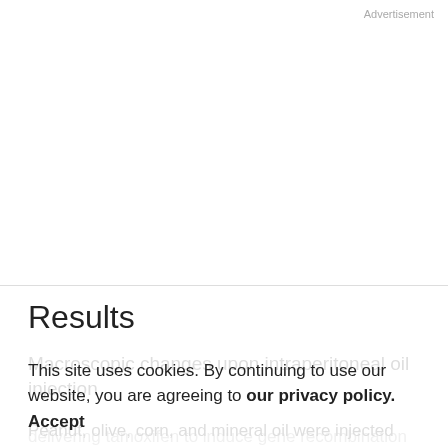Advertisement
Results
Macroscopic changes upon intraperitoneal oil injection
Peanut, olive, corn, and mineral oil were injected into the peritoneum (intraperitoneally) of adult mice for 5 consecutive days. This mimics a typical protocol for delivering tamoxifen to induce gene recombination in transgenic mice expressing Cre recombinase.(2). Analysis was done 3 weeks later. Untreated mice and mice treated with peanut oil by oral gavage were used as
This site uses cookies. By continuing to use our website, you are agreeing to our privacy policy. Accept